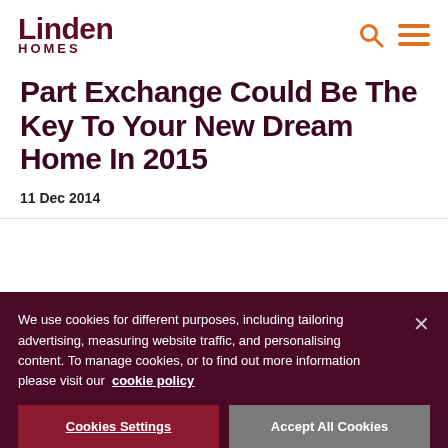Linden HOMES
Part Exchange Could Be The Key To Your New Dream Home In 2015
11 Dec 2014
We use cookies for different purposes, including tailoring advertising, measuring website traffic, and personalising content. To manage cookies, or to find out more information please visit our cookie policy
Cookies Settings  Accept All Cookies